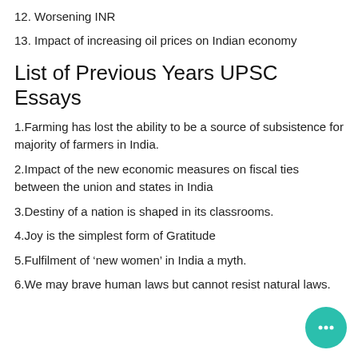12. Worsening INR
13. Impact of increasing oil prices on Indian economy
List of Previous Years UPSC Essays
1.Farming has lost the ability to be a source of subsistence for majority of farmers in India.
2.Impact of the new economic measures on fiscal ties between the union and states in India
3.Destiny of a nation is shaped in its classrooms.
4.Joy is the simplest form of Gratitude
5.Fulfilment of ‘new women’ in India a myth.
6.We may brave human laws but cannot resist natural laws.